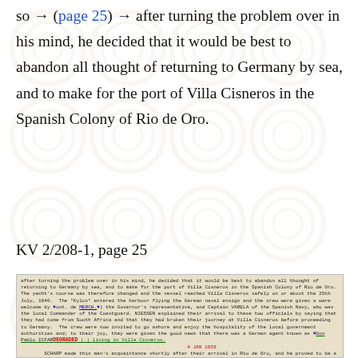so → (page 25) → after turning the problem over in his mind, he decided that it would be best to abandon all thought of returning to Germany by sea, and to make for the port of Villa Cisneros in the Spanish Colony of Rio de Oro.
KV 2/208-1, page 25
[Figure (photo): Scanned typewritten document page (KV 2/208-1, page 25) with handwritten annotations in blue ink crossing out names, a red 'DEGRADED' stamp, and a date stamp '4 JAN 1953'. Text describes the Kylos yacht arriving at Villa Cisneros, crew welcomed by Governor's representative and Captain Varela of Spanish Navy, and mention of a German agent known as Don Pablo ICFAR[...] living in Villa Cisneros. SCHARP made acquaintance shortly after arrival in Rio de Oro.]